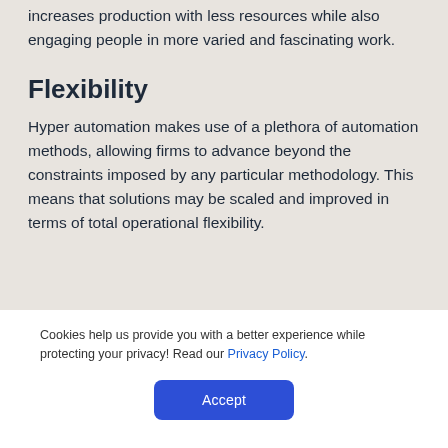increases production with less resources while also engaging people in more varied and fascinating work.
Flexibility
Hyper automation makes use of a plethora of automation methods, allowing firms to advance beyond the constraints imposed by any particular methodology. This means that solutions may be scaled and improved in terms of total operational flexibility.
Cookies help us provide you with a better experience while protecting your privacy! Read our Privacy Policy.
Accept